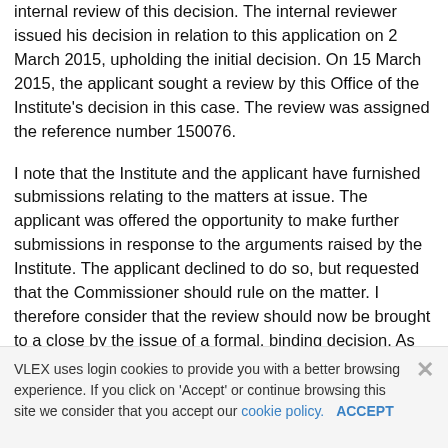internal review of this decision. The internal reviewer issued his decision in relation to this application on 2 March 2015, upholding the initial decision. On 15 March 2015, the applicant sought a review by this Office of the Institute's decision in this case. The review was assigned the reference number 150076.
I note that the Institute and the applicant have furnished submissions relating to the matters at issue. The applicant was offered the opportunity to make further submissions in response to the arguments raised by the Institute. The applicant declined to do so, but requested that the Commissioner should rule on the matter. I therefore consider that the review should now be brought to a close by the issue of a formal, binding decision. As the parties to each review are identical, and given that each review concerns similar subject matter, in
VLEX uses login cookies to provide you with a better browsing experience. If you click on 'Accept' or continue browsing this site we consider that you accept our cookie policy. ACCEPT